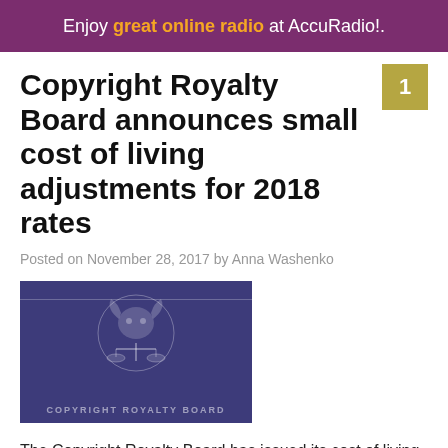Enjoy great online radio at AccuRadio!.
Copyright Royalty Board announces small cost of living adjustments for 2018 rates
Posted on November 28, 2017 by Anna Washenko
[Figure (logo): Copyright Royalty Board logo on dark purple background with ram/goat emblem and scales of justice]
The Copyright Royalty Board has issued its cost of living adjustments for royalty rates in 2018. The new rate for ad-supported, non-subscription music streaming